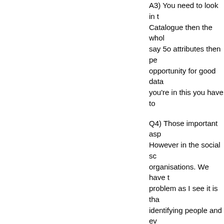A3) You need to look in the Catalogue then the whole say 5o attributes then pe opportunity for good data you're in this you have to
Q4) Those important asp However in the social sc organisations. We have t problem as I see it is tha identifying people and ev handle spatial definition b me about what you view
A4) On the INSPIRE fron
Q4) Stop there! It depen protective. People can st
A4) I think in that theme generally for third part